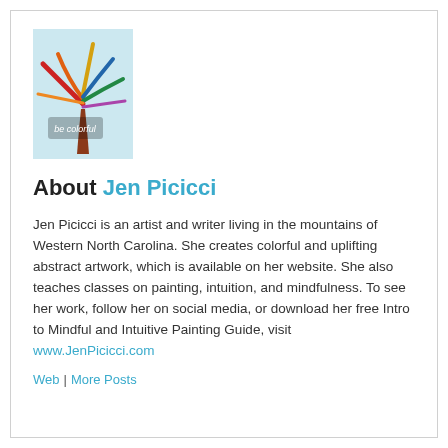[Figure (illustration): Colorful abstract tree artwork with 'be colorful' text, serving as a logo/avatar image]
About Jen Picicci
Jen Picicci is an artist and writer living in the mountains of Western North Carolina. She creates colorful and uplifting abstract artwork, which is available on her website. She also teaches classes on painting, intuition, and mindfulness. To see her work, follow her on social media, or download her free Intro to Mindful and Intuitive Painting Guide, visit www.JenPicicci.com
Web | More Posts